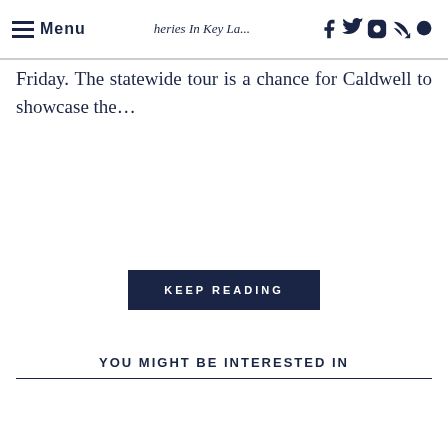Menu | ...heries In Key La... | [social icons: Facebook, Twitter, Instagram, RSS, Search]
Friday. The statewide tour is a chance for Caldwell to showcase the...
KEEP READING
YOU MIGHT BE INTERESTED IN